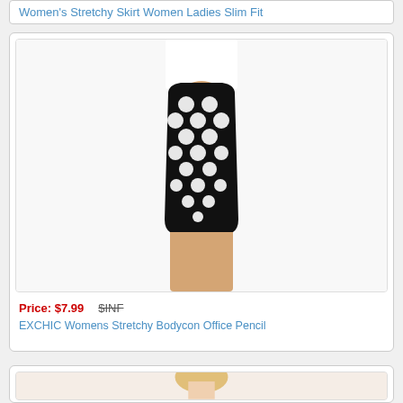Women's Stretchy Skirt Women Ladies Slim Fit
[Figure (photo): A woman wearing a black and white polka dot bodycon pencil skirt with a white top, torso and legs visible.]
Price: $7.99   $INF
EXCHIC Womens Stretchy Bodycon Office Pencil
[Figure (photo): A woman with long blonde braided hair wearing a light pink blouse, partial view from upper body.]